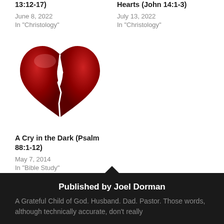13:12-17)
June 8, 2022
In "Christology"
Hearts (John 14:1-3)
July 13, 2022
In "Christology"
[Figure (illustration): A red broken heart illustration split down the middle with a white crack/lightning bolt line.]
A Cry in the Dark (Psalm 88:1-12)
May 7, 2014
In "Bible Study"
Published by Joel Dorman
A Grateful Child of God. Husband. Dad. Pastor. Those words, although technically accurate, don't really